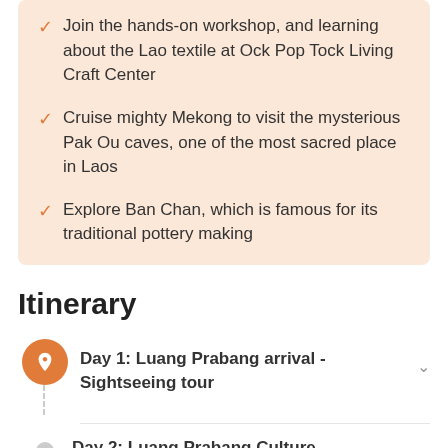Join the hands-on workshop, and learning about the Lao textile at Ock Pop Tock Living Craft Center
Cruise mighty Mekong to visit the mysterious Pak Ou caves, one of the most sacred place in Laos
Explore Ban Chan, which is famous for its traditional pottery making
Itinerary
Day 1: Luang Prabang arrival - Sightseeing tour
Day 2: Luang Prabang Culture Experience